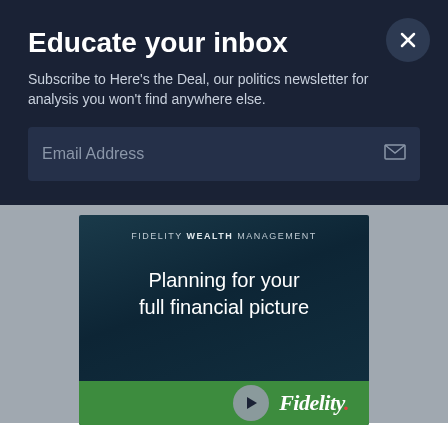Educate your inbox
Subscribe to Here's the Deal, our politics newsletter for analysis you won't find anywhere else.
[Figure (screenshot): Email address input field with envelope icon on dark navy background]
[Figure (advertisement): Fidelity Wealth Management advertisement with text 'Planning for your full financial picture' on dark teal background with green bar and Fidelity logo at bottom]